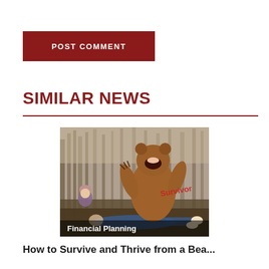POST COMMENT
SIMILAR NEWS
[Figure (photo): A bear standing upright in a forest over a person lying on the ground, with a child in the background and a red 'Survivor' text overlay. Caption reads 'Financial Planning'.]
How to Survive and Thrive from a Bea...